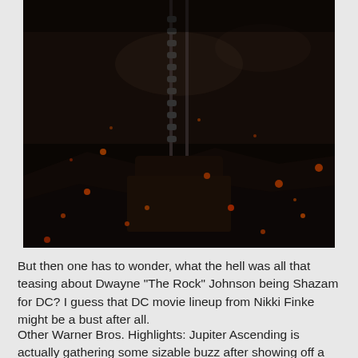[Figure (photo): Dark dramatic movie still showing chains and rocky dark environment with glowing embers and smoke, likely from a DC Comics superhero film (Black Adam).]
But then one has to wonder, what the hell was all that teasing about Dwayne “The Rock” Johnson being Shazam for DC? I guess that DC movie lineup from Nikki Finke might be a bust after all.
Other Warner Bros. Highlights: Jupiter Ascending is actually gathering some sizable buzz after showing off a